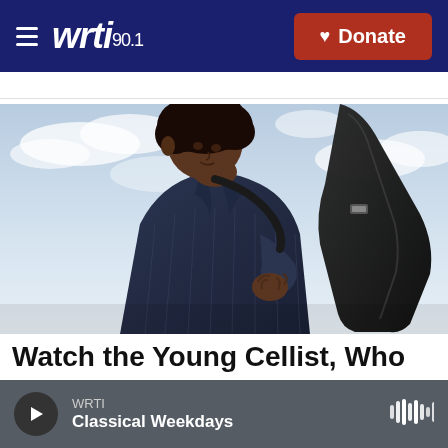WRTI 90.1 | Donate
[Figure (photo): A young Black man with an afro hairstyle, wearing a navy pinstripe jacket, looking down, with a large black cello case strapped to his back. Cloudy sky background.]
Watch the Young Cellist, Who
WRTI | Classical Weekdays